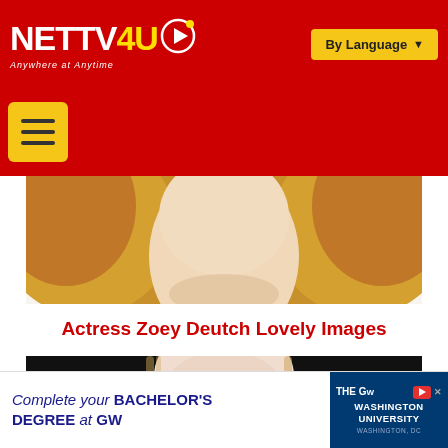NETTV4U — Anywhere at Anytime | By Language
[Figure (photo): Close-up photo of Zoey Deutch showing chin, neck and blonde wavy hair against white background]
Actress Zoey Deutch Lovely Images
[Figure (photo): Photo of Zoey Deutch smiling, wearing denim jacket, against dark background]
[Figure (other): Advertisement banner: Complete your BACHELOR'S DEGREE at GW — The George Washington University, Washington DC]